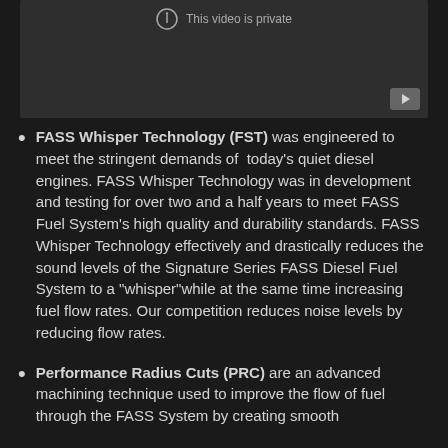[Figure (screenshot): Dark video player placeholder showing 'This video is private' text with a YouTube play button in the bottom right corner]
FASS Whisper Technology (FST) was engineered to meet the stringent demands of today's quiet diesel engines. FASS Whisper Technology was in development and testing for over two and a half years to meet FASS Fuel System's high quality and durability standards. FASS Whisper Technology effectively and drastically reduces the sound levels of the Signature Series FASS Diesel Fuel System to a "whisper" while at the same time increasing fuel flow rates. Our competition reduces noise levels by reducing flow rates.
Performance Radius Cuts (PRC) are an advanced machining technique used to improve the flow of fuel through the FASS System by creating smooth